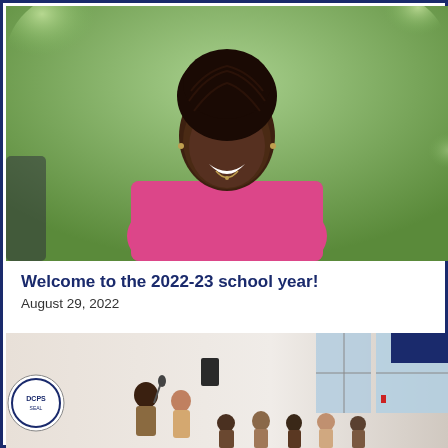[Figure (photo): Woman in pink jacket smiling outdoors with green trees in background]
Welcome to the 2022-23 school year!
August 29, 2022
[Figure (photo): Woman speaking at a podium/microphone in a school or community event setting with audience visible]